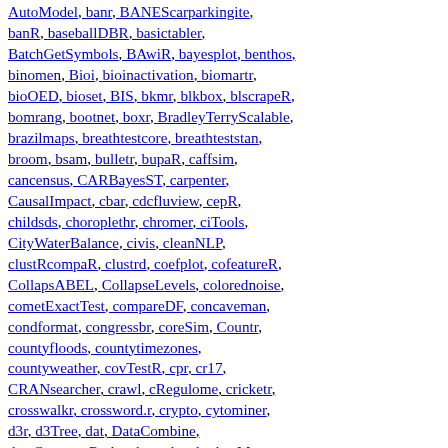AutoModel, banr, BANEScarparkingite, banR, baseballDBR, basictabler, BatchGetSymbols, BAwiR, bayesplot, benthos, binomen, Bioi, bioinactivation, biomartr, bioOED, bioset, BIS, bkmr, blkbox, blscrapeR, bomrang, bootnet, boxr, BradleyTerryScalable, brazilmaps, breathtestcore, breathteststan, broom, bsam, bulletr, bupaR, caffsim, cancensus, CARBayesST, carpenter, CausalImpact, cbar, cdcfluview, cepR, childsds, choroplethr, chromer, ciTools, CityWaterBalance, civis, cleanNLP, clustRcompaR, clustrd, coefplot, cofeatureR, CollapsABEL, CollapseLevels, colorednoise, cometExactTest, compareDF, concaveman, condformat, congressbr, coreSim, Countr, countyfloods, countytimezones, countyweather, covTestR, cpr, cr17, CRANsearcher, crawl, cRegulome, cricketr, crosswalkr, crossword.r, crypto, cytominer, d3r, d3Tree, dat, DataCombine, dataCompareR, datadogr, datadr, dataMeta, dataRetrieval, datastepr, datasus, dbfaker, dbplyr, ddpcr, DeLorean, dendroTools, denovolyzeR, descriptr, desctable, detrendr, ...